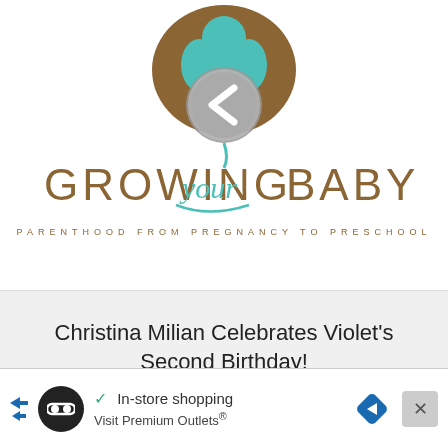[Figure (logo): Growing Your Baby logo with left navigation arrow, brown afro shape, teal figures, gray circle with left chevron, teal cursive 'your', text PARENTHOOD FROM PREGNANCY TO PRESCHOOL]
Christina Milian Celebrates Violet's Second Birthday!
[Figure (logo): Growing Your Baby logo with right navigation arrow, brown afro shape, teal figures, gray circle with right chevron]
[Figure (advertisement): Ad banner: checkmark, In-store shopping, Visit Premium Outlets, navigation and close icons]